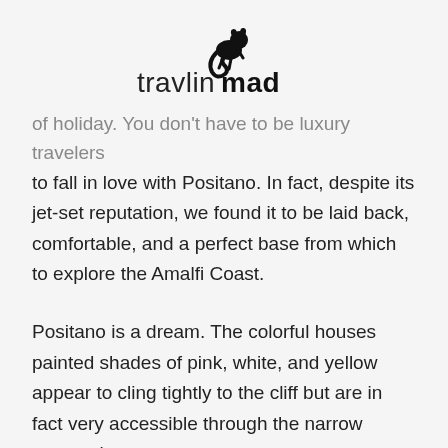[Figure (logo): travlinmad logo with animal silhouette above the text]
of holiday. You don't have to be luxury travelers to fall in love with Positano. In fact, despite its jet-set reputation, we found it to be laid back, comfortable, and a perfect base from which to explore the Amalfi Coast.
Positano is a dream. The colorful houses painted shades of pink, white, and yellow appear to cling tightly to the cliff but are in fact very accessible through the narrow streets that